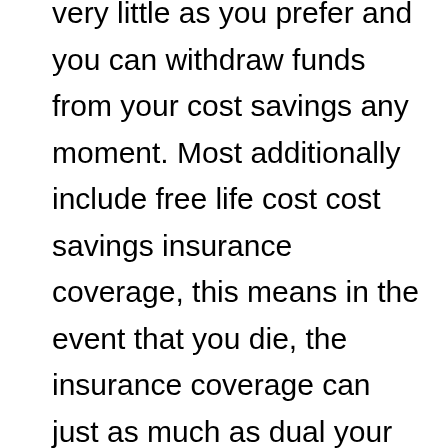very little as you prefer and you can withdraw funds from your cost savings any moment. Most additionally include free life cost cost savings insurance coverage, this means in the event that you die, the insurance coverage can just as much as dual your cost savings, that are then compensated to your selected beneficiary.

Therefore, as they may well not provide interest that is exciting, credit union cost